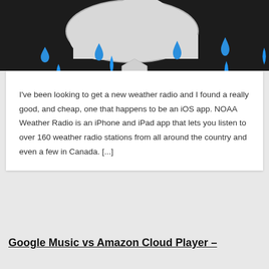[Figure (illustration): Dark background with a cloud illustration containing blue rain drops. A grey hexagonal pencil/edit icon is overlaid at the bottom center of the image.]
I've been looking to get a new weather radio and I found a really good, and cheap, one that happens to be an iOS app. NOAA Weather Radio is an iPhone and iPad app that lets you listen to over 160 weather radio stations from all around the country and even a few in Canada. [...]
Google Music vs Amazon Cloud Player –